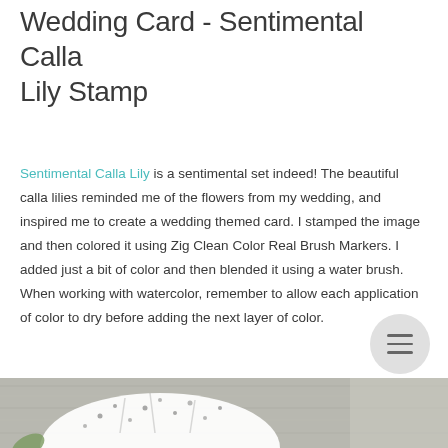Wedding Card - Sentimental Calla Lily Stamp
Sentimental Calla Lily is a sentimental set indeed! The beautiful calla lilies reminded me of the flowers from my wedding, and inspired me to create a wedding themed card. I stamped the image and then colored it using Zig Clean Color Real Brush Markers. I added just a bit of color and then blended it using a water brush. When working with watercolor, remember to allow each application of color to dry before adding the next layer of color.
[Figure (photo): Partial view of a wedding card craft project featuring white lace/floral elements on a gray wood-grain background]